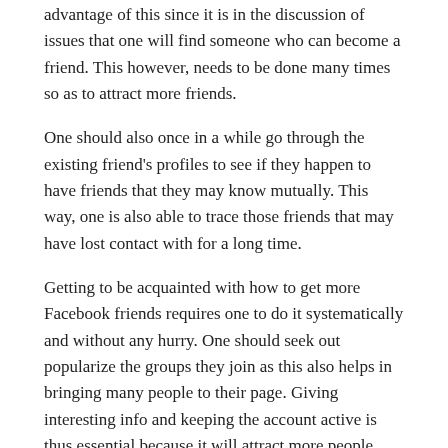advantage of this since it is in the discussion of issues that one will find someone who can become a friend. This however, needs to be done many times so as to attract more friends.
One should also once in a while go through the existing friend's profiles to see if they happen to have friends that they may know mutually. This way, one is also able to trace those friends that may have lost contact with for a long time.
Getting to be acquainted with how to get more Facebook friends requires one to do it systematically and without any hurry. One should seek out popularize the groups they join as this also helps in bringing many people to their page. Giving interesting info and keeping the account active is thus essential because it will attract more people.
Marketers know how to get more Facebook friends as it's a basic part of all their training. In this source on how to get more Facebook friends you will definitely be able to do what is being asked of you.
TAGGED advertising, Facebook, Facebook Advertising, facebook